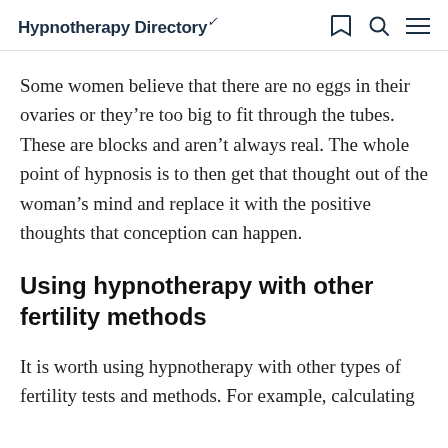Hypnotherapy Directory
Some women believe that there are no eggs in their ovaries or they're too big to fit through the tubes. These are blocks and aren't always real. The whole point of hypnosis is to then get that thought out of the woman's mind and replace it with the positive thoughts that conception can happen.
Using hypnotherapy with other fertility methods
It is worth using hypnotherapy with other types of fertility tests and methods. For example, calculating